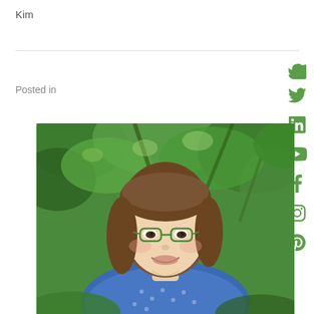Kim
Posted in
[Figure (photo): Portrait photo of a woman named Kim with brown shoulder-length hair, green-rimmed glasses, smiling, wearing a blue patterned shirt, photographed outdoors in front of green leafy trees.]
[Figure (infographic): Vertical social media icon bar on the right side with icons for Twitter, LinkedIn, YouTube, Facebook, Instagram, and Pinterest, all in green color.]